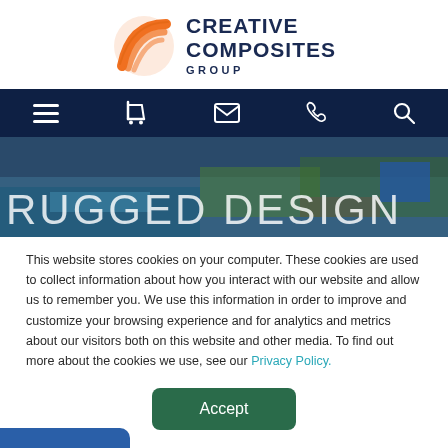[Figure (logo): Creative Composites Group logo with orange arc/globe icon and dark navy text]
[Figure (screenshot): Dark navy navigation bar with hamburger menu, cart, email, phone, and search icons in white]
[Figure (photo): Aerial/overhead photo of industrial or construction site with water, labeled 'RUGGED DESIGN' in large white letters]
This website stores cookies on your computer. These cookies are used to collect information about how you interact with our website and allow us to remember you. We use this information in order to improve and customize your browsing experience and for analytics and metrics about our visitors both on this website and other media. To find out more about the cookies we use, see our Privacy Policy.
[Figure (other): Green 'Accept' button for cookie consent]